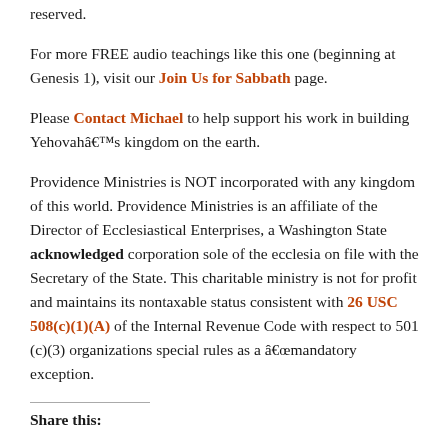reserved.
For more FREE audio teachings like this one (beginning at Genesis 1), visit our Join Us for Sabbath page.
Please Contact Michael to help support his work in building Yehovahâ€™s kingdom on the earth.
Providence Ministries is NOT incorporated with any kingdom of this world. Providence Ministries is an affiliate of the Director of Ecclesiastical Enterprises, a Washington State acknowledged corporation sole of the ecclesia on file with the Secretary of the State. This charitable ministry is not for profit and maintains its nontaxable status consistent with 26 USC 508(c)(1)(A) of the Internal Revenue Code with respect to 501 (c)(3) organizations special rules as a â€œmandatory exception.
Share this: